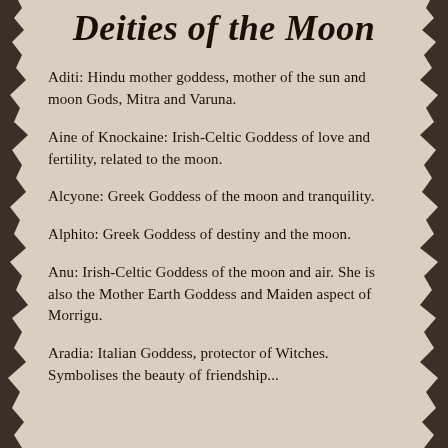Deities of the Moon
Aditi: Hindu mother goddess, mother of the sun and moon Gods, Mitra and Varuna.
Aine of Knockaine: Irish-Celtic Goddess of love and fertility, related to the moon.
Alcyone: Greek Goddess of the moon and tranquility.
Alphito: Greek Goddess of destiny and the moon.
Anu: Irish-Celtic Goddess of the moon and air. She is also the Mother Earth Goddess and Maiden aspect of Morrigu.
Aradia: Italian Goddess, protector of Witches. Symbolises the beauty of friendship...